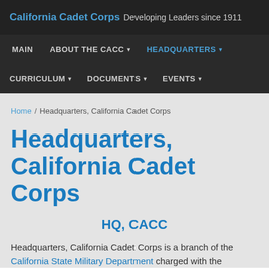California Cadet Corps Developing Leaders since 1911
MAIN   ABOUT THE CACC ▾   HEADQUARTERS ▾   CURRICULUM ▾   DOCUMENTS ▾   EVENTS ▾
Home / Headquarters, California Cadet Corps
Headquarters, California Cadet Corps
HQ, CACC
Headquarters, California Cadet Corps is a branch of the California State Military Department charged with the